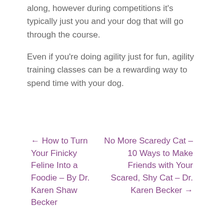along, however during competitions it's typically just you and your dog that will go through the course.
Even if you're doing agility just for fun, agility training classes can be a rewarding way to spend time with your dog.
← How to Turn Your Finicky Feline Into a Foodie – By Dr. Karen Shaw Becker
No More Scaredy Cat – 10 Ways to Make Friends with Your Scared, Shy Cat – Dr. Karen Becker →